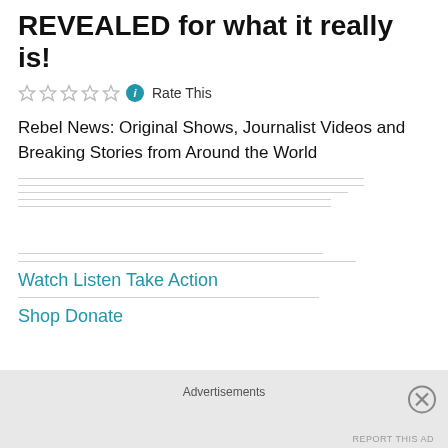REVEALED for what it really is!
Rate This
Rebel News: Original Shows, Journalist Videos and Breaking Stories from Around the World
Watch Listen Take Action
Shop Donate
Advertisements